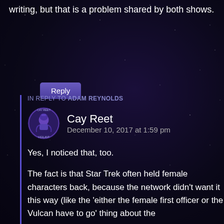writing, but that is a problem shared by both shows.
Reply
IN REPLY TO ADAM REYNOLDS
Cay Reet
December 10, 2017 at 1:59 pm
Yes, I noticed that, too.
The fact is that Star Trek often held female characters back, because the network didn't want it this way (like the 'either the female first officer or the Vulcan have to go' thing about the